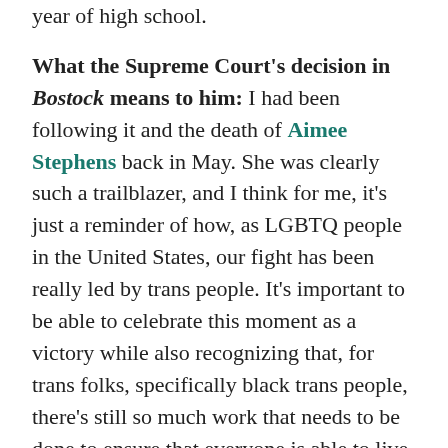year of high school.
What the Supreme Court's decision in Bostock means to him: I had been following it and the death of Aimee Stephens back in May. She was clearly such a trailblazer, and I think for me, it's just a reminder of how, as LGBTQ people in the United States, our fight has been really led by trans people. It's important to be able to celebrate this moment as a victory while also recognizing that, for trans folks, specifically black trans people, there's still so much work that needs to be done to ensure that everyone is able to live and thrive without fear.
It's such a great reminder that so many of us have such intersecting identities. LGBTQ people are undocumented. Black folks are DACA recipients.